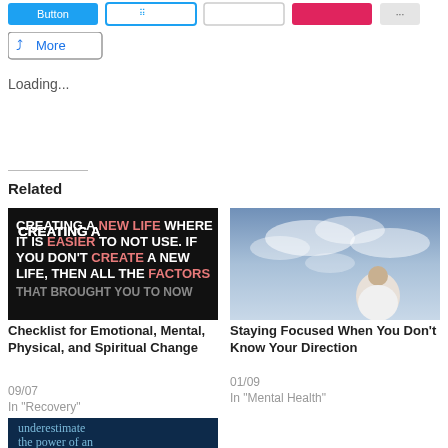[Figure (screenshot): Social share toolbar with blue filled button, blue outlined grid button, outline button, red button, gray button, and more share options at top]
[Figure (other): More share button with share icon]
Loading...
Related
[Figure (photo): Motivational quote image with dark background: CREATING A NEW LIFE WHERE IT IS EASIER TO NOT USE. IF YOU DON'T CREATE A NEW LIFE, THEN ALL THE FACTORS... Text in white and pink/red]
Checklist for Emotional, Mental, Physical, and Spiritual Change
09/07
In "Recovery"
[Figure (photo): Photo of person from behind looking up at dramatic cloudy sky]
Staying Focused When You Don't Know Your Direction
01/09
In "Mental Health"
[Figure (photo): Dark blue background image with text starting: underestimate the power of an]